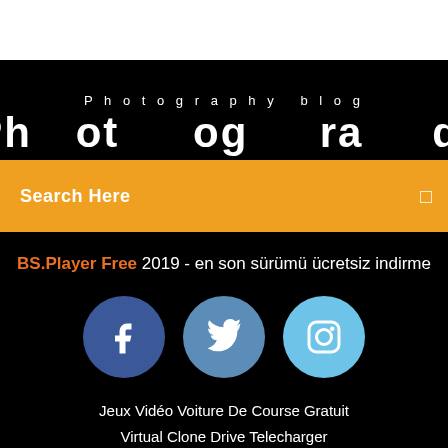Photography blog
Ph...
Search Here
BS.Player Free 2019 - en son sürümü ücretsiz indirme
[Figure (illustration): Three social media icons: Facebook (dark blue circle with f), Twitter (medium blue circle with bird), Instagram (light blue circle with camera)]
Jeux Vidéo Voiture De Course Gratuit
Virtual Clone Drive Telecharger
Comment Jouer En Ligne Sur Minecraft Ps Vita
Site De Telechargement De Serie Gratuit En Francais Sans